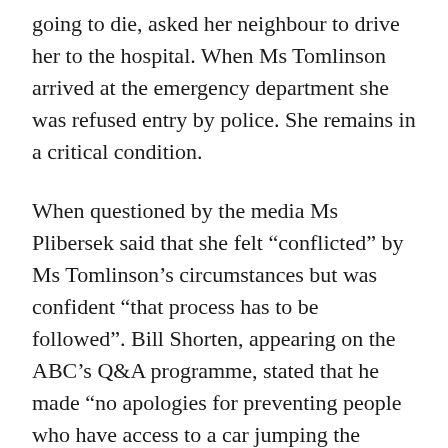going to die, asked her neighbour to drive her to the hospital. When Ms Tomlinson arrived at the emergency department she was refused entry by police. She remains in a critical condition.
When questioned by the media Ms Plibersek said that she felt “conflicted” by Ms Tomlinson’s circumstances but was confident “that process has to be followed”. Bill Shorten, appearing on the ABC’s Q&A programme, stated that he made “no apologies for preventing people who have access to a car jumping the queue”. Leading medical professions have condemned Mr Shorten’s comments claiming that people cannot be expected to stay at home and die waiting for an ambulance to arrive. “What would you do if your child needed